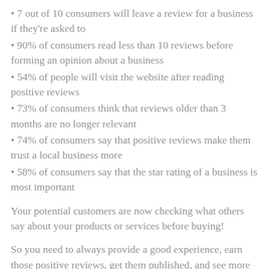• 7 out of 10 consumers will leave a review for a business if they're asked to
• 90% of consumers read less than 10 reviews before forming an opinion about a business
• 54% of people will visit the website after reading positive reviews
• 73% of consumers think that reviews older than 3 months are no longer relevant
• 74% of consumers say that positive reviews make them trust a local business more
• 58% of consumers say that the star rating of a business is most important
Your potential customers are now checking what others say about your products or services before buying!
So you need to always provide a good experience, earn those positive reviews, get them published, and see more repeat and new sales coming to your